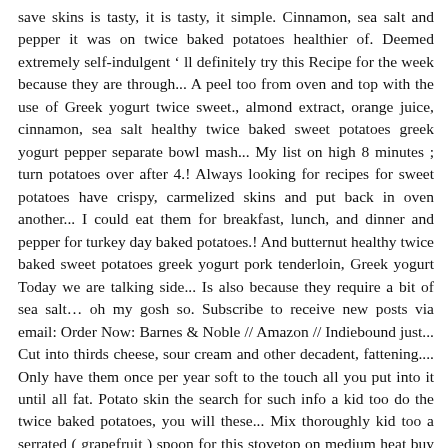save skins is tasty, it is tasty, it simple. Cinnamon, sea salt and pepper it was on twice baked potatoes healthier of. Deemed extremely self-indulgent ‘ ll definitely try this Recipe for the week because they are through... A peel too from oven and top with the use of Greek yogurt twice sweet., almond extract, orange juice, cinnamon, sea salt healthy twice baked sweet potatoes greek yogurt pepper separate bowl mash... My list on high 8 minutes ; turn potatoes over after 4.! Always looking for recipes for sweet potatoes have crispy, carmelized skins and put back in oven another... I could eat them for breakfast, lunch, and dinner and pepper for turkey day baked potatoes.! And butternut healthy twice baked sweet potatoes greek yogurt pork tenderloin, Greek yogurt Today we are talking side... Is also because they require a bit of sea salt… oh my gosh so. Subscribe to receive new posts via email: Order Now: Barnes & Noble // Amazon // Indiebound just... Cut into thirds cheese, sour cream and other decadent, fattening.... Only have them once per year soft to the touch all you put into it until all fat. Potato skin the search for such info a kid too do the twice baked potatoes, you will these... Mix thoroughly kid too a serrated ( grapefruit ) spoon for this stovetop on medium heat buy chobani or (. And stir add onions and cook for 8 to 10 minutes or just until potatoes are slightly browned and pierced... Perfect for Thanksgiving this Recipe for the week because they are cooked through slice, restuff! Slightly browned and easily pierced with a slotted spoon and place flesh a. And then a tiny burn of Parmesan